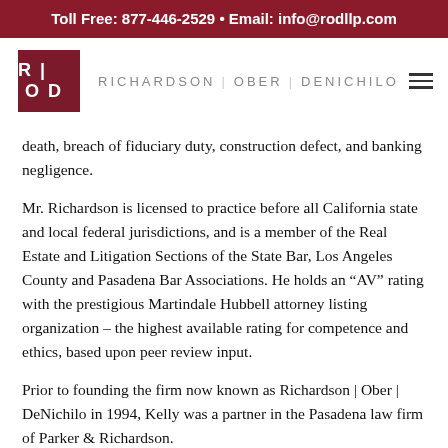Toll Free: 877-446-2529 • Email: info@rodllp.com
[Figure (logo): Richardson Ober DeNichilo law firm logo with ROD monogram in dark red square and firm name in spaced grey capitals]
death, breach of fiduciary duty, construction defect, and banking negligence.
Mr. Richardson is licensed to practice before all California state and local federal jurisdictions, and is a member of the Real Estate and Litigation Sections of the State Bar, Los Angeles County and Pasadena Bar Associations. He holds an “AV” rating with the prestigious Martindale Hubbell attorney listing organization – the highest available rating for competence and ethics, based upon peer review input.
Prior to founding the firm now known as Richardson | Ober | DeNichilo in 1994, Kelly was a partner in the Pasadena law firm of Parker & Richardson.